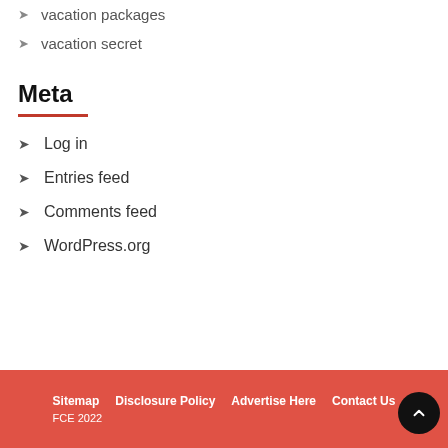vacation packages
vacation secret
Meta
Log in
Entries feed
Comments feed
WordPress.org
Sitemap   Disclosure Policy   Advertise Here   Contact Us   FCE 2022